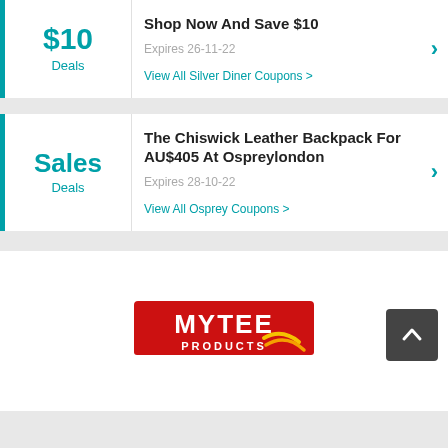$10 Deals
Shop Now And Save $10
Expires 26-11-22
View All Silver Diner Coupons >
Sales Deals
The Chiswick Leather Backpack For AU$405 At Ospreylondon
Expires 28-10-22
View All Osprey Coupons >
[Figure (logo): Mytee Products logo - red rectangle with white text 'MYTEE PRODUCTS' and yellow swoosh graphic]